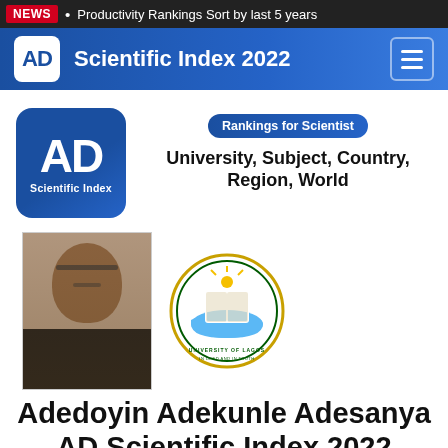NEWS • Productivity Rankings Sort by last 5 years
AD Scientific Index 2022
[Figure (logo): AD Scientific Index logo — bold white 'AD' letters with 'Scientific Index' text on blue rounded square background]
Rankings for Scientist
University, Subject, Country, Region, World
[Figure (photo): Profile photo of Adedoyin Adekunle Adesanya — a man wearing glasses and a dark suit]
[Figure (logo): University of Lagos circular seal/crest — green, white and gold with open book and water motif]
Adedoyin Adekunle Adesanya
AD Scientific Index 2022